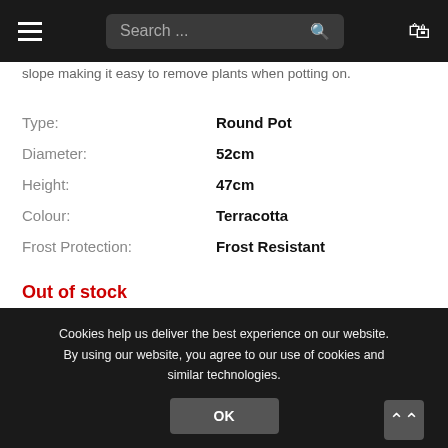Search ...
slope making it easy to remove plants when potting on.
| Label | Value |
| --- | --- |
| Type: | Round Pot |
| Diameter: | 52cm |
| Height: | 47cm |
| Colour: | Terracotta |
| Frost Protection: | Frost Resistant |
Out of stock
Receive an email when this product is
Cookies help us deliver the best experience on our website. By using our website, you agree to our use of cookies and similar technologies.